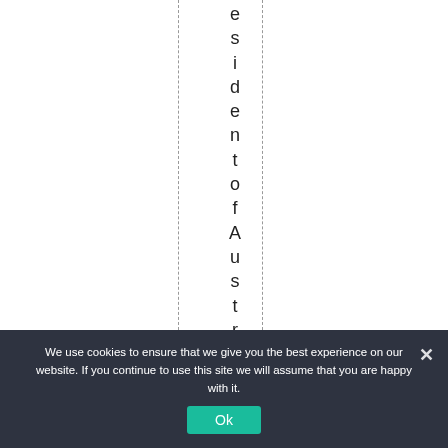esidentofAustralis
We use cookies to ensure that we give you the best experience on our website. If you continue to use this site we will assume that you are happy with it.